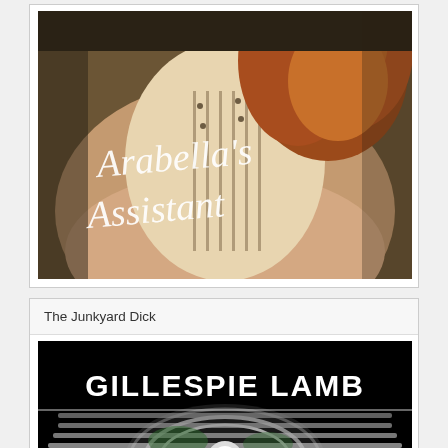[Figure (illustration): Book cover for 'Arabella's Assistant' showing a woman with reddish hair wearing a cream corset-style top, with the title in white cursive script overlaid on the image against a dark brown/olive background]
The Junkyard Dick
[Figure (illustration): Book cover for 'The Junkyard Dick' by Gillespie Lamb showing a chrome car grille detail on a black background with the author name 'GILLESPIE LAMB' in large white bold text]